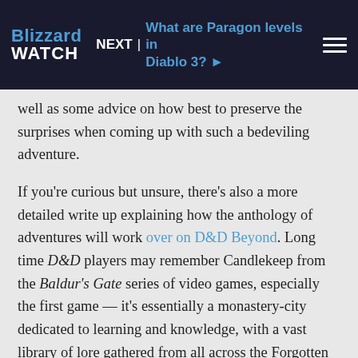NEXT | What are Paragon levels in Diablo 3? >
well as some advice on how best to preserve the surprises when coming up with such a bedeviling adventure.
If you're curious but unsure, there's also a more detailed write up explaining how the anthology of adventures will work over on D&D Beyond. Long time D&D players may remember Candlekeep from the Baldur's Gate series of video games, especially the first game — it's essentially a monastery-city dedicated to learning and knowledge, with a vast library of lore gathered from all across the Forgotten Realms of Faerun.
I find the idea of a loosely linked anthology of smaller adventures to be a lot easier to make use of than some of the bigger mega-adventures that Wizards puts out like Descent into Avernus or Rime of the Frostmaiden, but I do find myself interested in how those adventures...